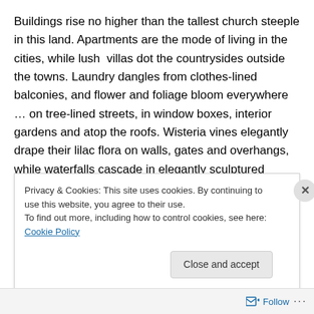Buildings rise no higher than the tallest church steeple in this land. Apartments are the mode of living in the cities, while lush  villas dot the countrysides outside the towns. Laundry dangles from clothes-lined balconies, and flower and foliage bloom everywhere … on tree-lined streets, in window boxes, interior gardens and atop the roofs. Wisteria vines elegantly drape their lilac flora on walls, gates and overhangs, while waterfalls cascade in elegantly sculptured structures all around.
Each city hosts a multitude of piazzas (plazas), most
Privacy & Cookies: This site uses cookies. By continuing to use this website, you agree to their use.
To find out more, including how to control cookies, see here: Cookie Policy